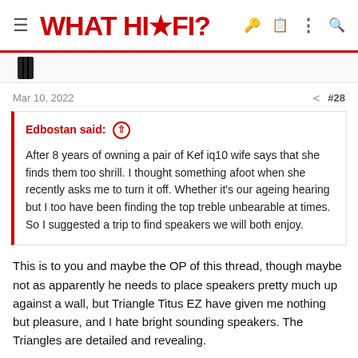WHAT HI·FI?
[Figure (other): Bookmark icon]
Mar 10, 2022  #28
Edbostan said: ↑

After 8 years of owning a pair of Kef iq10 wife says that she finds them too shrill. I thought something afoot when she recently asks me to turn it off. Whether it's our ageing hearing but I too have been finding the top treble unbearable at times. So I suggested a trip to find speakers we will both enjoy.
This is to you and maybe the OP of this thread, though maybe not as apparently he needs to place speakers pretty much up against a wall, but Triangle Titus EZ have given me nothing but pleasure, and I hate bright sounding speakers. The Triangles are detailed and revealing.